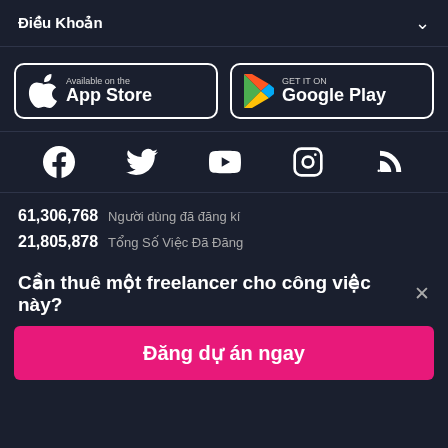Điều Khoản
[Figure (logo): App Store download button with Apple logo]
[Figure (logo): Google Play download button with Play Store logo]
[Figure (infographic): Social media icons: Facebook, Twitter, YouTube, Instagram, RSS]
61,306,768  Người dùng đã đăng kí
21,805,878  Tổng Số Việc Đã Đăng
Cần thuê một freelancer cho công việc này? ×
Đăng dự án ngay